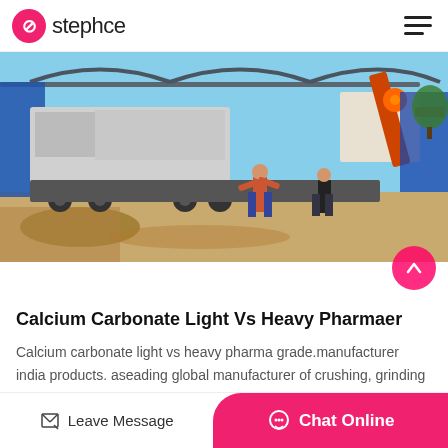stephce
[Figure (photo): Industrial site with large heavy machinery and trucks parked under a metal frame structure. Two workers are visible standing in the foreground on a sandy/dirt ground.]
Calcium Carbonate Light Vs Heavy Pharmaer
Calcium carbonate light vs heavy pharma grade.manufacturer india products. aseading global manufacturer of crushing, grinding and mining equipments, we offer advanced, reasona…
Leave Message  Chat Online